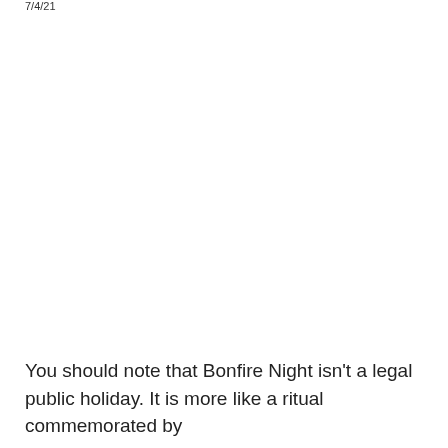7/4/21
You should note that Bonfire Night isn't a legal public holiday. It is more like a ritual commemorated by